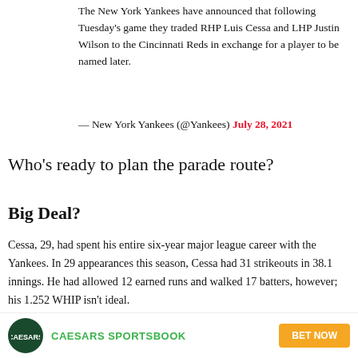The New York Yankees have announced that following Tuesday’s game they traded RHP Luis Cessa and LHP Justin Wilson to the Cincinnati Reds in exchange for a player to be named later.
— New York Yankees (@Yankees) July 28, 2021
Who’s ready to plan the parade route?
Big Deal?
Cessa, 29, had spent his entire six-year major league career with the Yankees. In 29 appearances this season, Cessa had 31 strikeouts in 38.1 innings. He had allowed 12 earned runs and walked 17 batters, however; his 1.252 WHIP isn’t ideal.
CAESARS SPORTSBOOK   BET NOW